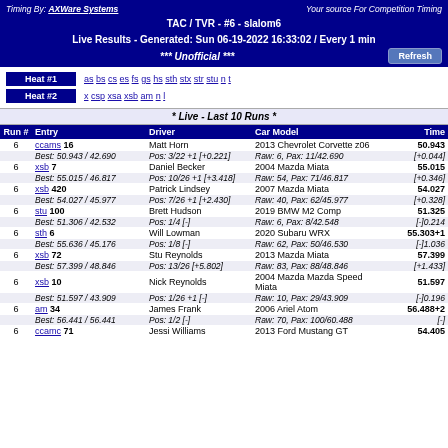Timing By: AXWare Systems | Your source For Competition Timing | TAC / TVR - #6 - slalom6 | Live Results - Generated: Sun 06-19-2022 16:33:02 / Every 1 min | *** Unofficial ***
Heat #1: as bs cs es fs gs hs sth stx str stu n t
Heat #2: x csp xsa xsb am n l
* Live - Last 10 Runs *
| Run # | Entry | Driver | Car Model | Time |
| --- | --- | --- | --- | --- |
| 6 | ccams 16 | Matt Horn | 2013 Chevrolet Corvette z06 | 50.943 |
|  | Best: 50.943 / 42.690 | Pos: 3/22 +1 [+0.221] | Raw: 6, Pax: 11/42.690 | [+0.044] |
| 6 | xsb 7 | Daniel Becker | 2004 Mazda Miata | 55.015 |
|  | Best: 55.015 / 46.817 | Pos: 10/26 +1 [+3.418] | Raw: 54, Pax: 71/46.817 | [+0.346] |
| 6 | xsb 420 | Patrick Lindsey | 2007 Mazda Miata | 54.027 |
|  | Best: 54.027 / 45.977 | Pos: 7/26 +1 [+2.430] | Raw: 40, Pax: 62/45.977 | [+0.328] |
| 6 | stu 100 | Brett Hudson | 2019 BMW M2 Comp | 51.325 |
|  | Best: 51.306 / 42.532 | Pos: 1/4 [-] | Raw: 6, Pax: 8/42.548 | [-]0.214 |
| 6 | sth 6 | Will Lowman | 2020 Subaru WRX | 55.303+1 |
|  | Best: 55.636 / 45.176 | Pos: 1/8 [-] | Raw: 62, Pax: 50/46.530 | [-]1.036 |
| 6 | xsb 72 | Stu Reynolds | 2013 Mazda Miata | 57.399 |
|  | Best: 57.399 / 48.846 | Pos: 13/26 [+5.802] | Raw: 83, Pax: 88/48.846 | [+1.433] |
| 6 | xsb 10 | Nick Reynolds | 2004 Mazda Mazda Speed Miata | 51.597 |
|  | Best: 51.597 / 43.909 | Pos: 1/26 +1 [-] | Raw: 10, Pax: 29/43.909 | [-]0.196 |
| 6 | am 34 | James Frank | 2006 Ariel Atom | 56.488+2 |
|  | Best: 56.441 / 56.441 | Pos: 1/2 [-] | Raw: 70, Pax: 100/60.488 | [-] |
| 6 | ccamc 71 | Jessi Williams | 2013 Ford Mustang GT | 54.405 |